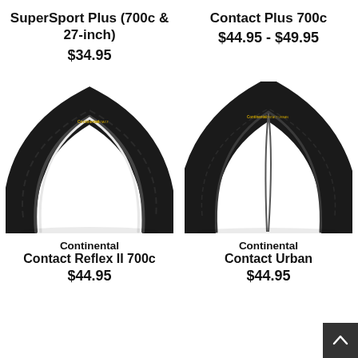SuperSport Plus (700c & 27-inch)
$34.95
Contact Plus 700c
$44.95 - $49.95
[Figure (photo): Continental Contact Reflex II 700c bicycle tire, black, shown as an arc/cutout view with tread pattern visible]
[Figure (photo): Continental Contact Urban bicycle tire, black, shown as an arc/cutout view with smooth center tread and side knobs]
Continental
Contact Reflex II 700c
$44.95
Continental
Contact Urban
$44.95